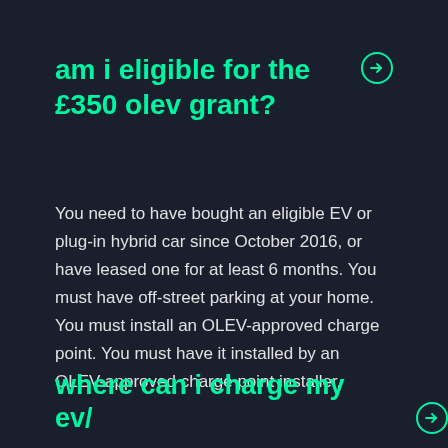am i eligible for the £350 olev grant?
You need to have bought an eligible EV or plug-in hybrid car since October 2016, or have leased one for at least 6 months. You must have off-street parking at your home. You must install an OLEV-approved charge point. You must have it installed by an OLEV-approved charge point installer.
where can i charge my ev/